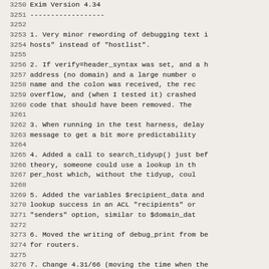Exim Version 4.34
------------------
1. Very minor rewording of debugging text i hosts" instead of "hostlist".
2. If verify=header_syntax was set, and a h address (no domain) and a large number o name and the colon was received, the rec overflow, and (when I tested it) crashed code that should have been removed. The
3. When running in the test harness, delay message to get a bit more predictability
4. Added a call to search_tidyup() just bef theory, someone could use a lookup in th per_host which, without the tidyup, coul
5. Added the variables $recipient_data and lookup success in an ACL "recipients" or "senders" option, similar to $domain_dat
6. Moved the writing of debug_print from be for routers.
7. Change 4.31/66 (moving the time when the problems for message scanning, either us local_scan() because the Received: heade were called (in order to set the time as I have revised the way this works. The h body is received, but before the ACL or are run, the timestamp in the header is